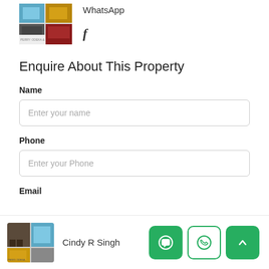[Figure (photo): Thumbnail image collage of property photos (furniture/rooms)]
WhatsApp
f
Enquire About This Property
Name
Enter your name
Phone
Enter your Phone
Email
[Figure (photo): Small thumbnail collage of property photos in footer]
Cindy R Singh